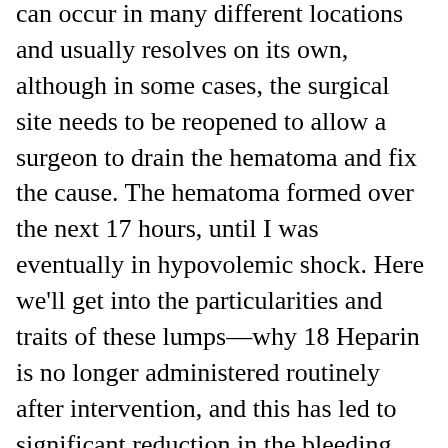can occur in many different locations and usually resolves on its own, although in some cases, the surgical site needs to be reopened to allow a surgeon to drain the hematoma and fix the cause. The hematoma formed over the next 17 hours, until I was eventually in hypovolemic shock. Here we'll get into the particularities and traits of these lumps—why 18 Heparin is no longer administered routinely after intervention, and this has led to significant reduction in the bleeding complications rate. A hematoma can also form after you have certain leg surgeries. The source for pain after a cath procedure can be the skin, nerves, muscles, tendons or blood vessel walls. Sometimes the clot breaks off and travels to the chest, blocking blood flow to the lungs. Some common symptoms associated with hematoma after a surgery include the following,